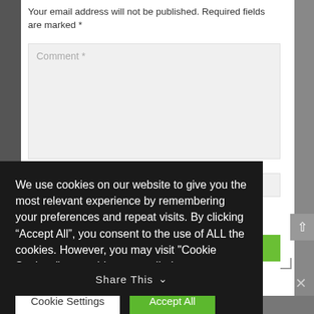Your email address will not be published. Required fields are marked *
Comment *
WEBSITE
n this
POST COMMENT
We use cookies on our website to give you the most relevant experience by remembering your preferences and repeat visits. By clicking “Accept All”, you consent to the use of ALL the cookies. However, you may visit "Cookie Settings" to provide a controlled consent.
Cookie Settings
Accept All
Share This
×